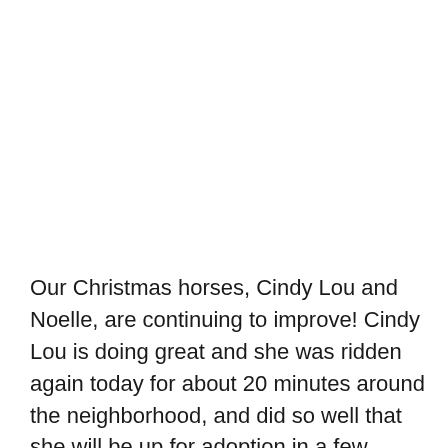Our Christmas horses, Cindy Lou and Noelle, are continuing to improve! Cindy Lou is doing great and she was ridden again today for about 20 minutes around the neighborhood, and did so well that she will be up for adoption in a few weeks! We have discovered that Cindy Lou has had some abuse in the past and has a LOT of capricious